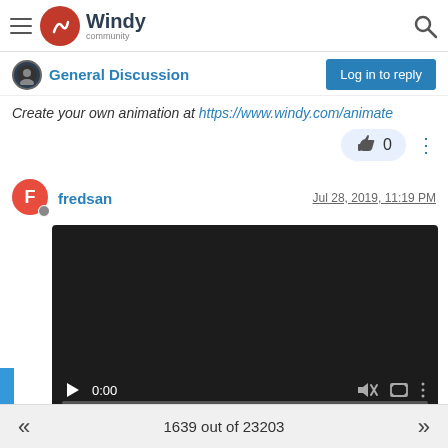Windy community
General Discussion
Log in to reply
Create your own animation at https://www.windy.com/animate
fredsan  Jul 28, 2019, 11:19 PM
[Figure (screenshot): Embedded video player with dark background, showing controls: play button, 0:00 timestamp, mute icon, fullscreen icon, more options icon, and a progress bar at the bottom.]
To download this video just click with right mouse button on this link
1639 out of 23203